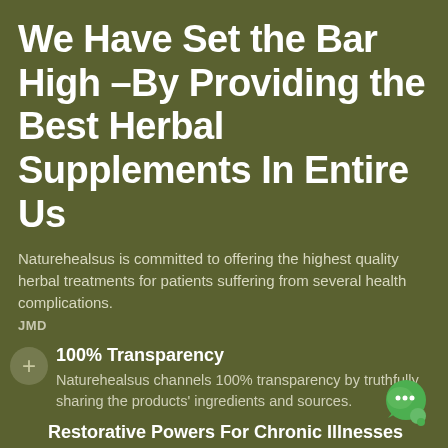We Have Set the Bar High –By Providing the Best Herbal Supplements In Entire Us
Naturehealsus is committed to offering the highest quality herbal treatments for patients suffering from several health complications.
JMD
100% Transparency
Naturehealsus channels 100% transparency by truthfully sharing the products' ingredients and sources.
Restorative Powers For Chronic Illnesses
Our supplements are created to cure several chronic diseases like STIs, Herpes, and STD.
[Figure (illustration): Green chat bubble icon in bottom right corner]